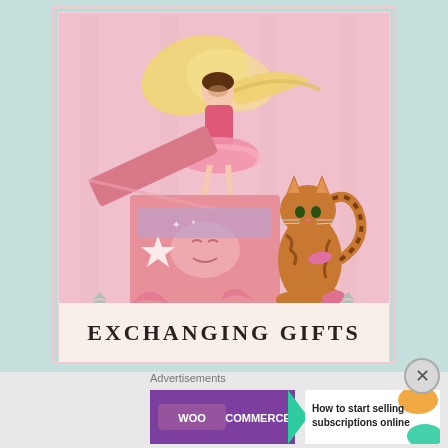[Figure (illustration): Book cover illustration showing a fairy ballerina in a pink tutu emerging from a pink gift box with a star and face decoration, with a striped cat wearing a pink bow nearby. The fairy has golden wings and long flowing hair. Background is soft pink.]
EXCHANGING GIFTS
Advertisements
[Figure (screenshot): WooCommerce advertisement banner with purple background on left showing WooCommerce logo with green arrow, and white right side with text 'How to start selling subscriptions online' with orange and teal decorative blobs.]